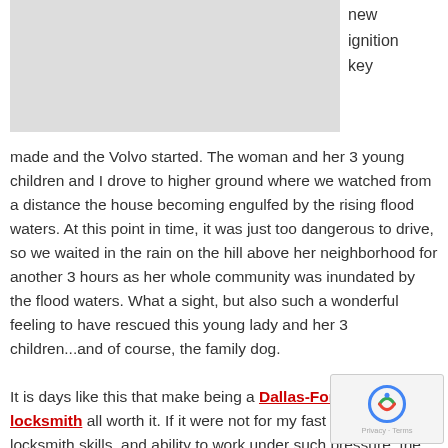[Figure (photo): Gray placeholder image in upper left area]
new ignition key made and the Volvo started. The woman and her 3 young children and I drove to higher ground where we watched from a distance the house becoming engulfed by the rising flood waters. At this point in time, it was just too dangerous to drive, so we waited in the rain on the hill above her neighborhood for another 3 hours as her whole community was inundated by the flood waters. What a sight, but also such a wonderful feeling to have rescued this young lady and her 3 children...and of course, the family dog.
It is days like this that make being a Dallas-Fort Worth locksmith all worth it. If it were not for my fast thinking, locksmith skills, and ability to work under such pressure, the woman's Volvo may not have survived unscathed, or worse, the family may have not survived. Many people say